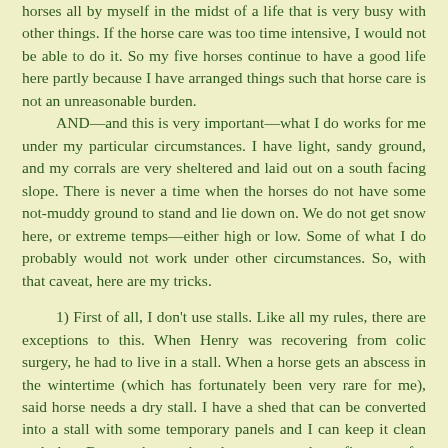horses all by myself in the midst of a life that is very busy with other things. If the horse care was too time intensive, I would not be able to do it. So my five horses continue to have a good life here partly because I have arranged things such that horse care is not an unreasonable burden.
AND—and this is very important—what I do works for me under my particular circumstances. I have light, sandy ground, and my corrals are very sheltered and laid out on a south facing slope. There is never a time when the horses do not have some not-muddy ground to stand and lie down on. We do not get snow here, or extreme temps—either high or low. Some of what I do probably would not work under other circumstances. So, with that caveat, here are my tricks.
1) First of all, I don't use stalls. Like all my rules, there are exceptions to this. When Henry was recovering from colic surgery, he had to live in a stall. When a horse gets an abscess in the wintertime (which has fortunately been very rare for me), said horse needs a dry stall. I have a shed that can be converted into a stall with some temporary panels and I can keep it clean and dry. But no horse that does not need confinement for medical reasons is ever put in a stall.